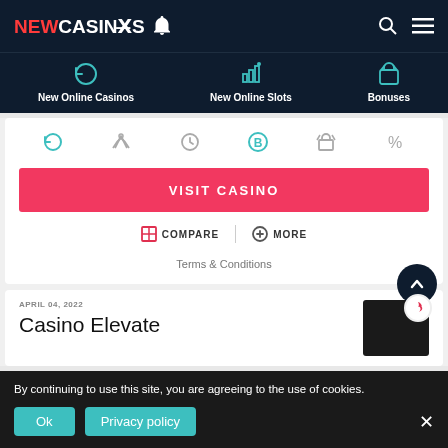NEWCASINOS
New Online Casinos | New Online Slots | Bonuses
[Figure (screenshot): Filter icon row with circular arrows, crown, clock, bitcoin B, gift box, and percent icons]
VISIT CASINO
COMPARE | MORE
Terms & Conditions
APRIL 04, 2022
Casino Elevate
By continuing to use this site, you are agreeing to the use of cookies.
Ok | Privacy policy